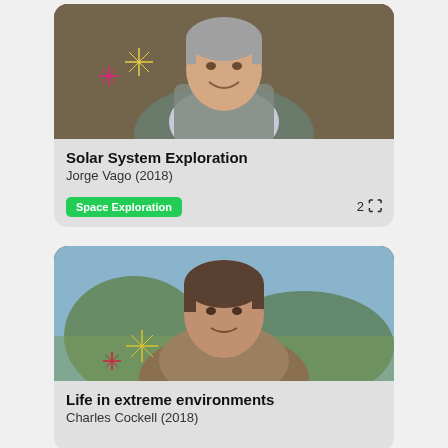[Figure (photo): Portrait photo of a smiling middle-aged man with gray hair wearing a gray cardigan over a striped shirt, with decorative star/sparkle graphics overlaid]
Solar System Exploration
Jorge Vago (2018)
Space Exploration
[Figure (photo): Portrait photo of a middle-aged man with brown hair wearing a tan/brown sweater, outdoors with trees in background, with decorative star/sparkle graphics overlaid]
Life in extreme environments
Charles Cockell (2018)